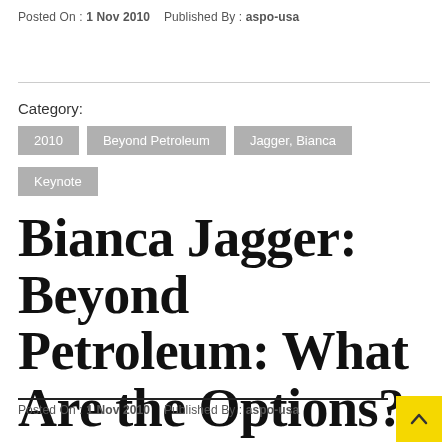Posted On : 1 Nov 2010   Published By : aspo-usa
Category:
2010
Beyond Petroleum
Jagger, Bianca
Keynote
Bianca Jagger: Beyond Petroleum: What Are the Options?
Posted On : 1 Nov 2010   Published By : aspo-usa